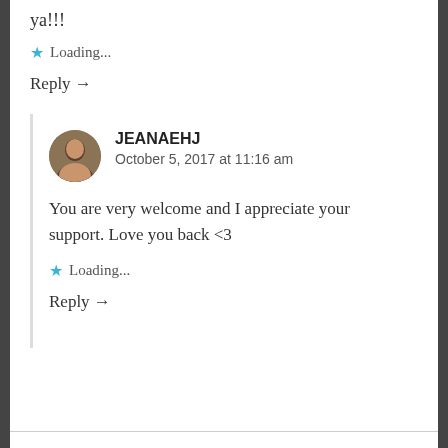ya!!!
★ Loading...
Reply →
JEANAEHJ
October 5, 2017 at 11:16 am
You are very welcome and I appreciate your support. Love you back <3
★ Loading...
Reply →